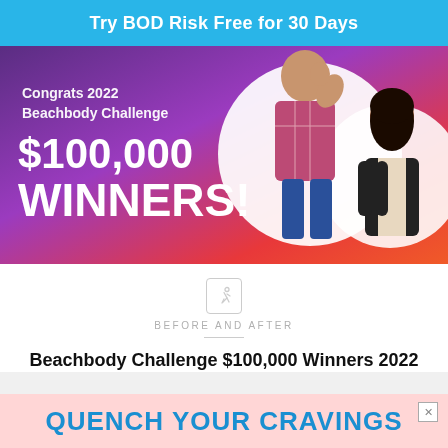Try BOD Risk Free for 30 Days
[Figure (photo): Promotional banner with purple-to-red gradient background showing two people (a man flexing his arm and a woman smiling), with text: Congrats 2022 Beachbody Challenge $100,000 WINNERS!]
BEFORE AND AFTER
Beachbody Challenge $100,000 Winners 2022
[Figure (advertisement): Pink ad banner with text QUENCH YOUR CRAVINGS and a close button]